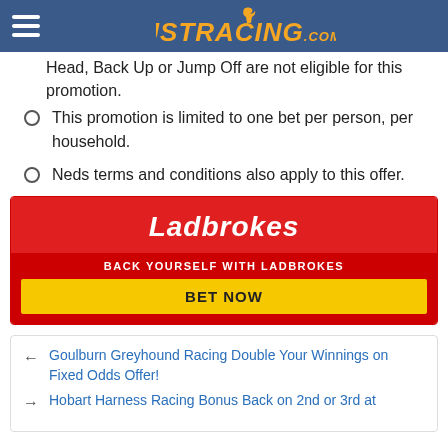JUSTRACING.COM.AU
Head, Back Up or Jump Off are not eligible for this promotion.
This promotion is limited to one bet per person, per household.
Neds terms and conditions also apply to this offer.
[Figure (logo): Ladbrokes advertisement banner with red background, Ladbrokes logo in white italic, tagline BACK YOURSELF WITH LADBROKES, and yellow BET NOW button]
← Goulburn Greyhound Racing Double Your Winnings on Fixed Odds Offer!
→ Hobart Harness Racing Bonus Back on 2nd or 3rd at